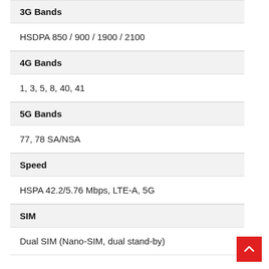| Field | Value |
| --- | --- |
| 3G Bands | HSDPA 850 / 900 / 1900 / 2100 |
| 4G Bands | 1, 3, 5, 8, 40, 41 |
| 5G Bands | 77, 78 SA/NSA |
| Speed | HSPA 42.2/5.76 Mbps, LTE-A, 5G |
| SIM | Dual SIM (Nano-SIM, dual stand-by) |